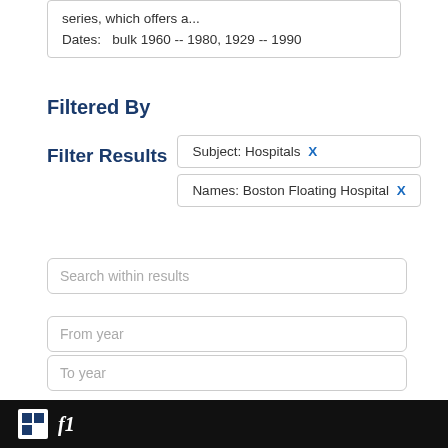series, which offers a...
Dates:   bulk 1960 -- 1980, 1929 -- 1990
Filtered By
Filter Results
Subject: Hospitals X
Names: Boston Floating Hospital X
Search within results
From year
To year
Search